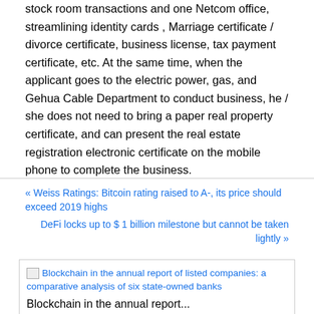stock room transactions and one Netcom office, streamlining identity cards , Marriage certificate / divorce certificate, business license, tax payment certificate, etc. At the same time, when the applicant goes to the electric power, gas, and Gehua Cable Department to conduct business, he / she does not need to bring a paper real property certificate, and can present the real estate registration electronic certificate on the mobile phone to complete the business.
« Weiss Ratings: Bitcoin rating raised to A-, its price should exceed 2019 highs
DeFi locks up to $ 1 billion milestone but cannot be taken lightly »
[Figure (other): Related article thumbnail image placeholder with alt text: Blockchain in the annual report of listed companies: a comparative analysis of six state-owned banks]
Blockchain in the annual report...